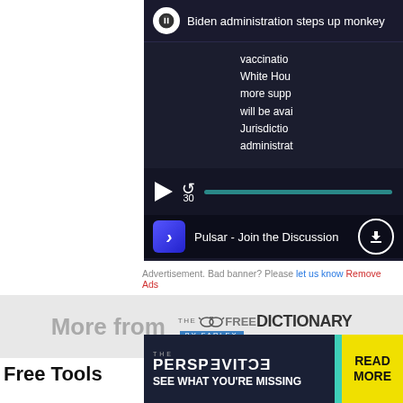[Figure (screenshot): Podcast audio player with dark background showing 'Biden administration steps up monkey' in title bar. Player shows subtitle text about vaccination, White House, more support, will be available, Jurisdiction, administration. Controls show play button, rewind 30 seconds button, and progress bar. Bottom shows Pulsar - Join the Discussion with download button.]
Advertisement. Bad banner? Please let us know Remove Ads
[Figure (logo): More from THE FREE DICTIONARY BY FARLEX logo with glasses icon]
Free Tools
[Figure (screenshot): Bottom advertisement banner: THE PERSPECTIVE - SEE WHAT YOU'RE MISSING with READ MORE button on yellow background]